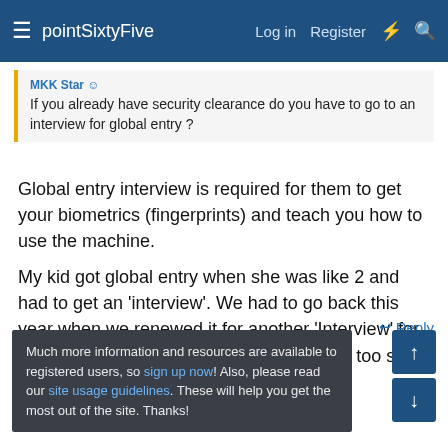pointSixtyFive — Log in | Register
If you already have security clearance do you have to go to an interview for global entry ?
Global entry interview is required for them to get your biometrics (fingerprints) and teach you how to use the machine.

My kid got global entry when she was like 2 and had to get an 'interview'. We had to go back this year when we renewed it for another 'Interview' for them to get her fingerprints since she was too small the first time.

Gotta love the government.
↩ Reply
🙂 MKK
Much more information and resources are available to registered users, so sign up now! Also, please read our site usage guidelines. These will help you get the most out of the site. Thanks!
flypilot
Trusted Contributor